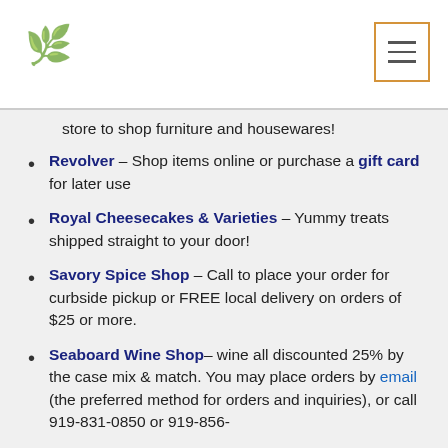[Logo and navigation menu button]
store to shop furniture and housewares!
Revolver – Shop items online or purchase a gift card for later use
Royal Cheesecakes & Varieties – Yummy treats shipped straight to your door!
Savory Spice Shop – Call to place your order for curbside pickup or FREE local delivery on orders of $25 or more.
Seaboard Wine Shop– wine all discounted 25% by the case mix & match. You may place orders by email (the preferred method for orders and inquiries), or call 919-831-0850 or 919-856-